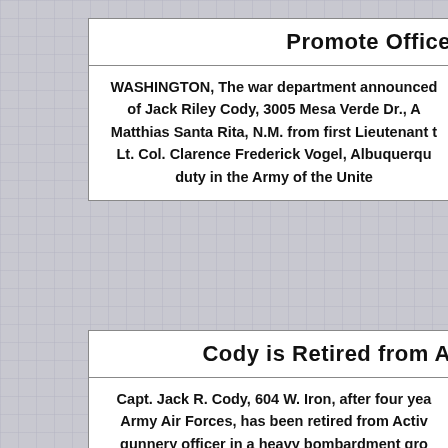Promote Office…
WASHINGTON, The war department announced… of Jack Riley Cody, 3005 Mesa Verde Dr., A… Matthias Santa Rita, N.M. from first Lieutenant t… Lt. Col. Clarence Frederick Vogel, Albuquerqu… duty in the Army of the Unite…
Cody is Retired from A…
Capt. Jack R. Cody, 604 W. Iron, after four yea… Army Air Forces, has been retired from Activ… gunnery officer in a heavy bombardment gro…